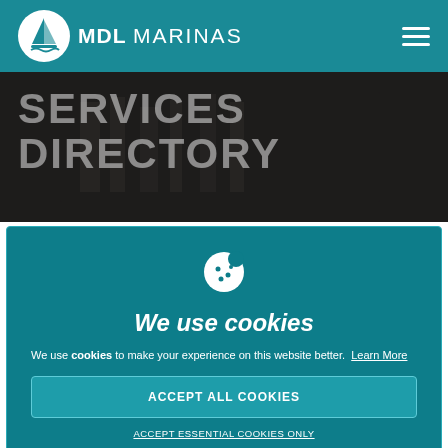MDL MARINAS
SERVICES DIRECTORY
[Figure (screenshot): Cookie consent banner on MDL Marinas website services directory page. Shows cookie icon, 'We use cookies' heading, description text, Accept All Cookies button, and Accept Essential Cookies Only link.]
We use cookies
We use cookies to make your experience on this website better.  Learn More
ACCEPT ALL COOKIES
ACCEPT ESSENTIAL COOKIES ONLY